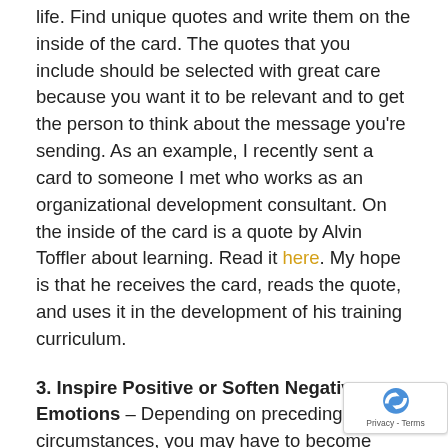life. Find unique quotes and write them on the inside of the card. The quotes that you include should be selected with great care because you want it to be relevant and to get the person to think about the message you're sending. As an example, I recently sent a card to someone I met who works as an organizational development consultant. On the inside of the card is a quote by Alvin Toffler about learning. Read it here. My hope is that he receives the card, reads the quote, and uses it in the development of his training curriculum.
3. Inspire Positive or Soften Negative Emotions – Depending on preceding circumstances, you may have to become (metaphorically) a cheerleader or a shoulder to cry on. If extending positive emotions, be sure to go above and beyond with your praise or kudos. Use an exclamation point. Inspire hope with encourage language. Or, include a gift card to recipient's favorite store to show appreciation. If softening a